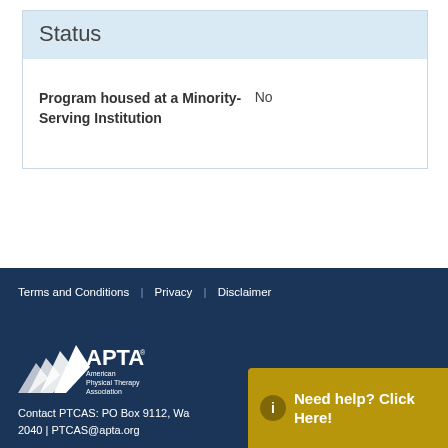Status
| Field | Value |
| --- | --- |
| Program housed at a Minority-Serving Institution | No |
Terms and Conditions | Privacy | Disclaimer
[Figure (logo): APTA American Physical Therapy Association logo in white on dark navy background]
Contact PTCAS: PO Box 9112, Wa... 2040 | PTCAS@apta.org
Need help? Click Here!